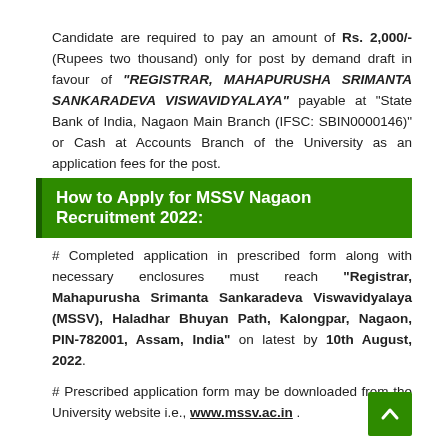Candidate are required to pay an amount of Rs. 2,000/- (Rupees two thousand) only for post by demand draft in favour of "REGISTRAR, MAHAPURUSHA SRIMANTA SANKARADEVA VISWAVIDYALAYA" payable at "State Bank of India, Nagaon Main Branch (IFSC: SBIN0000146)" or Cash at Accounts Branch of the University as an application fees for the post.
How to Apply for MSSV Nagaon Recruitment 2022:
# Completed application in prescribed form along with necessary enclosures must reach "Registrar, Mahapurusha Srimanta Sankaradeva Viswavidyalaya (MSSV), Haladhar Bhuyan Path, Kalongpar, Nagaon, PIN-782001, Assam, India" on latest by 10th August, 2022.
# Prescribed application form may be downloaded from the University website i.e., www.mssv.ac.in .